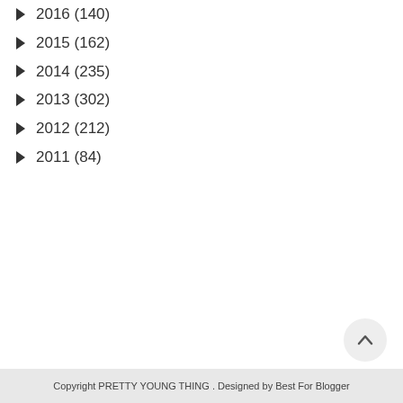► 2016 (140)
► 2015 (162)
► 2014 (235)
► 2013 (302)
► 2012 (212)
► 2011 (84)
Copyright PRETTY YOUNG THING . Designed by Best For Blogger